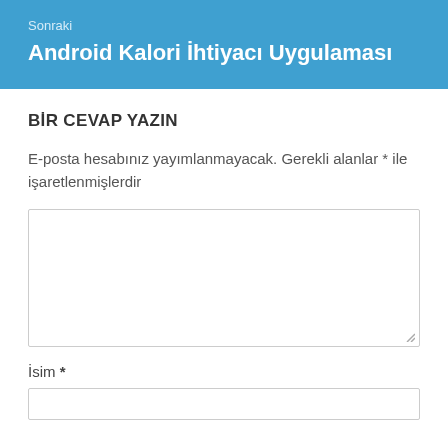Sonraki
Android Kalori İhtiyacı Uygulaması
BİR CEVAP YAZIN
E-posta hesabınız yayımlanmayacak. Gerekli alanlar * ile işaretlenmişlerdir
[Figure (other): Comment text area input box]
İsim *
[Figure (other): Name input field]